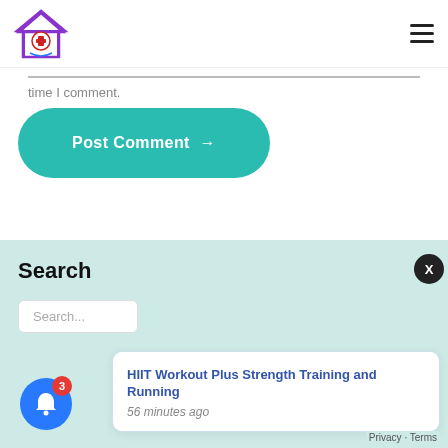[Figure (logo): Home health logo: purple house outline with red cross and medical symbol inside]
time I comment.
Post Comment →
Search
Search...
HIIT Workout Plus Strength Training and Running
56 minutes ago
Privacy · Terms